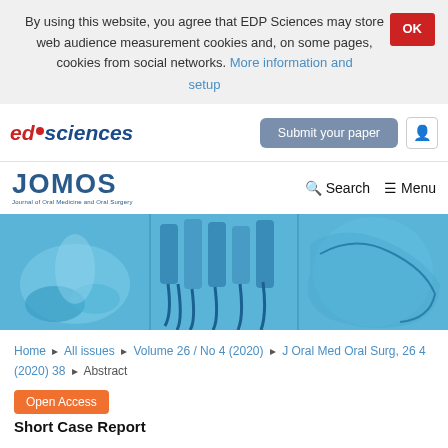By using this website, you agree that EDP Sciences may store web audience measurement cookies and, on some pages, cookies from social networks. More information and setup
edp sciences | Submit your paper
[Figure (logo): JOMOS - Journal of Oral Medicine and Oral Surgery logo with search and menu navigation]
[Figure (photo): Banner image showing blue-tinted dental/oral surgery photographs in three panels]
Home › All issues › Volume 26 / No 4 (2020) › J Oral Med Oral Surg, 26 4 (2020) 38 › Abstract
Open Access
Short Case Report